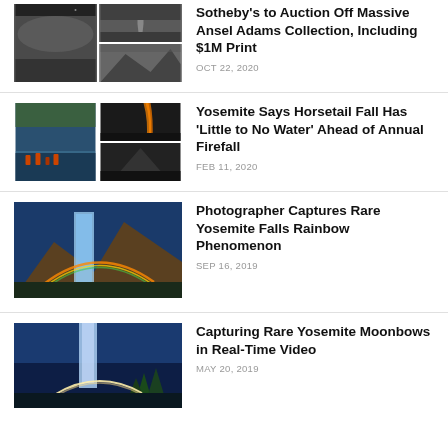[Figure (photo): Two black-and-white landscape photos in a grid: left tall image shows a wide plain with mountains and stormy sky; top-right shows a winding road through mountains; bottom-right shows mountain peaks]
Sotheby's to Auction Off Massive Ansel Adams Collection, Including $1M Print
OCT 22, 2020
[Figure (photo): Two photos in a grid: left shows crowd of photographers at a lake in snow with golden light; right shows Horsetail Fall in orange firefall glow]
Yosemite Says Horsetail Fall Has 'Little to No Water' Ahead of Annual Firefall
FEB 11, 2020
[Figure (photo): Photo of Yosemite Falls with a rainbow arc in a deep blue canyon]
Photographer Captures Rare Yosemite Falls Rainbow Phenomenon
SEP 16, 2019
[Figure (photo): Photo of Yosemite waterfall at night with a moonbow at the base, blue sky and trees]
Capturing Rare Yosemite Moonbows in Real-Time Video
MAY 20, 2019